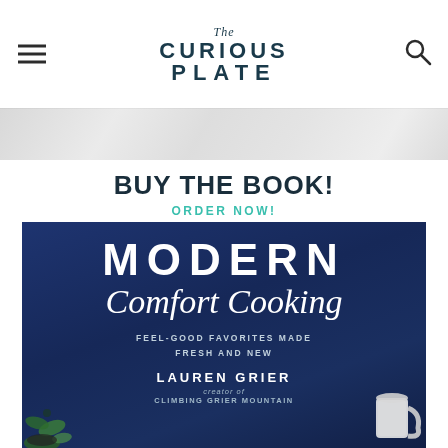The Curious Plate
BUY THE BOOK!
ORDER NOW!
[Figure (photo): Book cover for 'Modern Comfort Cooking: Feel-Good Favorites Made Fresh and New' by Lauren Grier, creator of Climbing Grier Mountain. Deep navy blue background with white text and food photography elements.]